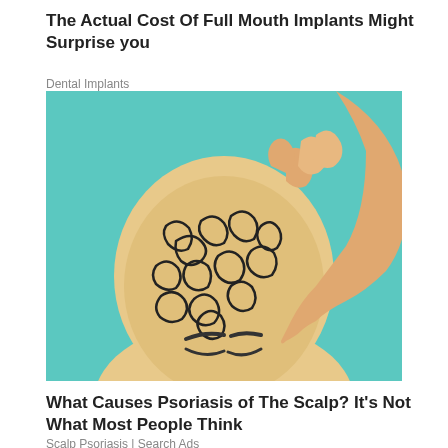The Actual Cost Of Full Mouth Implants Might Surprise you
Dental Implants
[Figure (illustration): Stylized digital illustration of a bald person scratching or picking at their scalp with one hand raised, with swirling black and white patterns drawn on their scalp against a teal background, suggesting scalp psoriasis or skin condition.]
What Causes Psoriasis of The Scalp? It's Not What Most People Think
Scalp Psoriasis | Search Ads